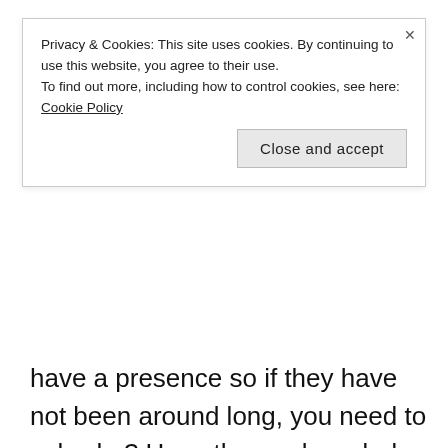Privacy & Cookies: This site uses cookies. By continuing to use this website, you agree to their use.
To find out more, including how to control cookies, see here: Cookie Policy
Close and accept
have a presence so if they have not been around long, you need to ask why? Have they re-branded and if so who were they before. Are they just starting out and what previous experience have they got.
Not all Literary Agents use social media, however, most do and it is beneficial to discover more about them. Are they promoting books/authors they've